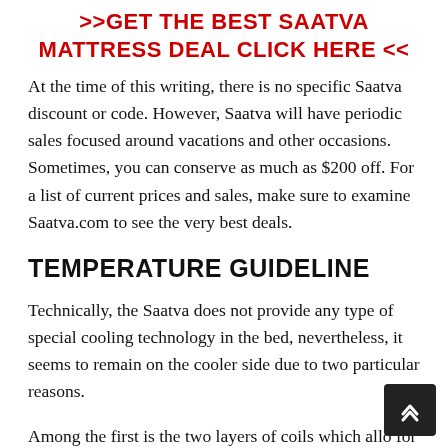>>GET THE BEST SAATVA MATTRESS DEAL CLICK HERE <<
At the time of this writing, there is no specific Saatva discount or code. However, Saatva will have periodic sales focused around vacations and other occasions. Sometimes, you can conserve as much as $200 off. For a list of current prices and sales, make sure to examine Saatva.com to see the very best deals.
TEMPERATURE GUIDELINE
Technically, the Saatva does not provide any type of special cooling technology in the bed, nevertheless, it seems to remain on the cooler side due to two particular reasons.
Among the first is the two layers of coils which allow for more air to go through the mattress compared to